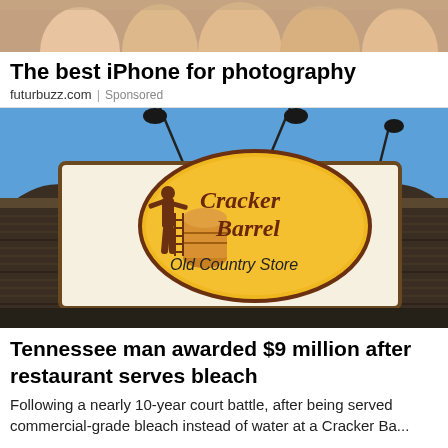[Figure (photo): Cropped photo showing fingers/hands holding a phone, top portion cut off, flesh-toned blur]
The best iPhone for photography
futurbuzz.com | Sponsored
[Figure (photo): Photo of a Cracker Barrel Old Country Store sign on the exterior of a building against a blue sky]
Tennessee man awarded $9 million after restaurant serves bleach
Following a nearly 10-year court battle, after being served commercial-grade bleach instead of water at a Cracker Ba...